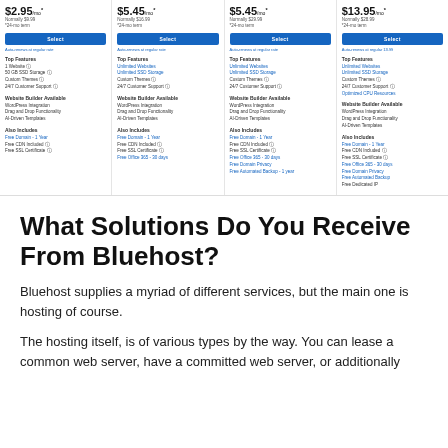[Figure (screenshot): Bluehost pricing comparison table showing 4 plans at $2.95/mo, $5.45/mo, $5.45/mo, and $13.95/mo with features listed for each plan]
What Solutions Do You Receive From Bluehost?
Bluehost supplies a myriad of different services, but the main one is hosting of course.
The hosting itself, is of various types by the way. You can lease a common web server, have a committed web server, or additionally